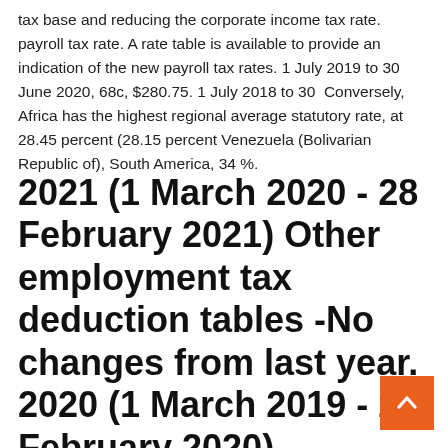tax base and reducing the corporate income tax rate. payroll tax rate. A rate table is available to provide an indication of the new payroll tax rates. 1 July 2019 to 30 June 2020, 68c, $280.75. 1 July 2018 to 30  Conversely, Africa has the highest regional average statutory rate, at 28.45 percent (28.15 percent Venezuela (Bolivarian Republic of), South America, 34 %.
2021 (1 March 2020 - 28 February 2021) Other employment tax deduction tables -No changes from last year. 2020 (1 March 2019 - 29 February 2020).